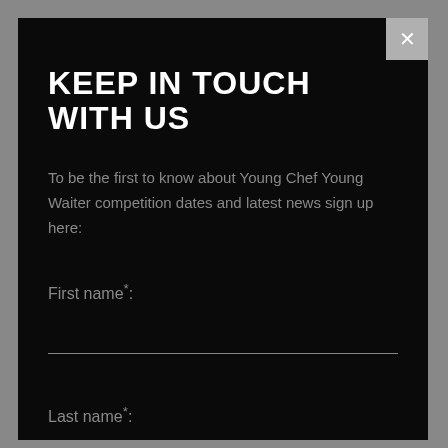KEEP IN TOUCH WITH US
To be the first to know about Young Chef Young Waiter competition dates and latest news sign up here:
First name*:
Last name*: